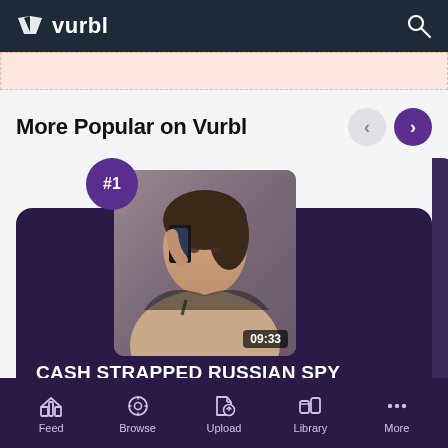vurbl — navigation bar with logo and search icon
[Figure (screenshot): Pink promotional banner with dashed border]
More Popular on Vurbl
[Figure (screenshot): Audio content card #1 — thumbnail of woman holding a phone, duration 09:33, category AUDIO, title CASH STRAPPED RUSSIAN SPY GETS CAUGHT BY FAKE]
Feed  Browse  Upload  Library  More — bottom navigation bar